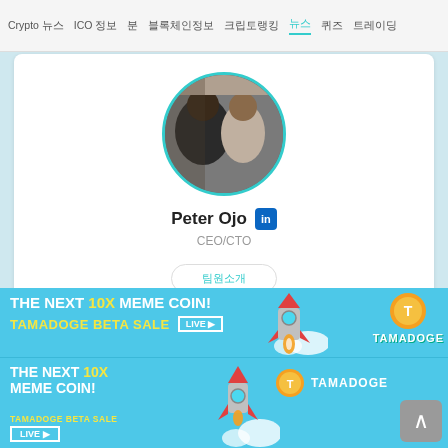Crypto 뉴스  ICO 정보  분  블록체인정보  크립토랭킹  뉴스  퀴즈  트레이딩
[Figure (photo): Profile photo of Peter Ojo, a person in dark clothing, circular crop with teal border]
Peter Ojo [LinkedIn] CEO/CTO
팀원소개
[Figure (photo): Second profile photo, partial view, circular crop with teal border]
[Figure (infographic): Tamadoge advertisement banner: THE NEXT 10X MEME COIN! TAMADOGE BETA SALE LIVE. Rocket illustration with coin logo on light blue background.]
[Figure (infographic): Tamadoge advertisement banner repeated: THE NEXT 10X MEME COIN! TAMADOGE BETA SALE LIVE. Smaller version.]